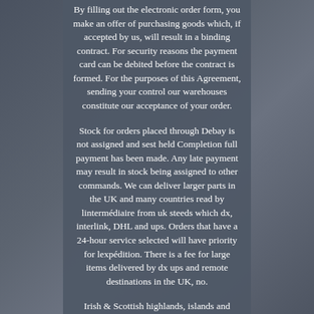By filling out the electronic order form, you make an offer of purchasing goods which, if accepted by us, will result in a binding contract. For security reasons the payment card can be debited before the contract is formed. For the purposes of this Agreement, sending your control our warehouses constitute our acceptance of your order.
Stock for orders placed through Debay is not assigned and sest held Completion full payment has been made. Any late payment may result in stock being assigned to other commands. We can deliver larger parts in the UK and many countries read by lintermédiaire from uk steeds which dx, interlink, DHL and ups. Orders that have a 24-hour service selected will have priority for lexpédition. There is a fee for large items delivered by dx ups and remote destinations in the UK, no.
Irish & Scottish highlands, islands and offshore destinations in the UK. The and destinations and...